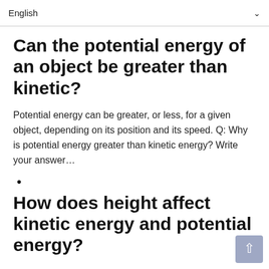English
Can the potential energy of an object be greater than kinetic?
Potential energy can be greater, or less, for a given object, depending on its position and its speed. Q: Why is potential energy greater than kinetic energy? Write your answer…
•
How does height affect kinetic energy and potential energy?